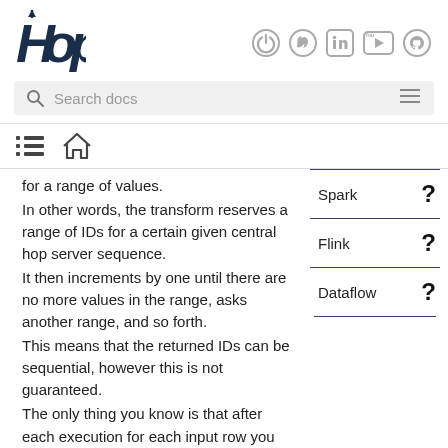Hop
[Figure (logo): Hop logo with stylized H and arrow]
[Figure (infographic): Social media icons: power/play, Twitter, LinkedIn, YouTube, GitHub]
Search docs
[Figure (infographic): Navigation icons: list/menu and home icon]
for a range of values.
In other words, the transform reserves a range of IDs for a certain given central hop server sequence.
It then increments by one until there are no more values in the range, asks another range, and so forth.
This means that the returned IDs can be sequential, however this is not guaranteed.
The only thing you know is that after each execution for each input row you get a unique ID that has a higher value than the
| Engine | Status |
| --- | --- |
| Spark | ? |
| Flink | ? |
| Dataflow | ? |